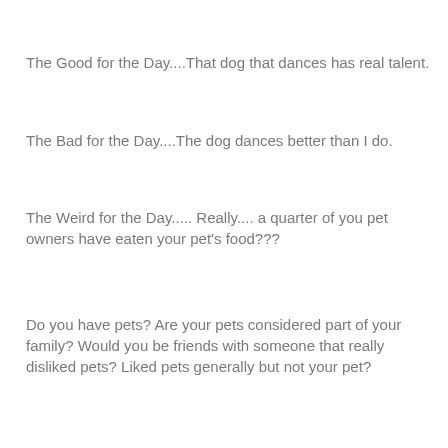The Good for the Day....That dog that dances has real talent.
The Bad for the Day....The dog dances better than I do.
The Weird for the Day..... Really.... a quarter of you pet owners have eaten your pet's food???
Do you have pets?  Are your pets considered part of your family?  Would you be friends with someone that really disliked pets?  Liked pets generally but not your pet?